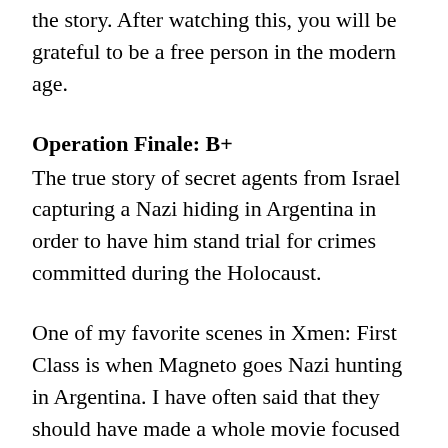the story.  After watching this, you will be grateful to be a free person in the modern age.
Operation Finale:  B+
The true story of secret agents from Israel capturing a Nazi hiding in Argentina in order to have him stand trial for crimes committed during the Holocaust.
One of my favorite scenes in Xmen: First Class is when Magneto goes Nazi hunting in Argentina.  I have often said that they should have made a whole movie focused on his exploits as a Nazi hunter.